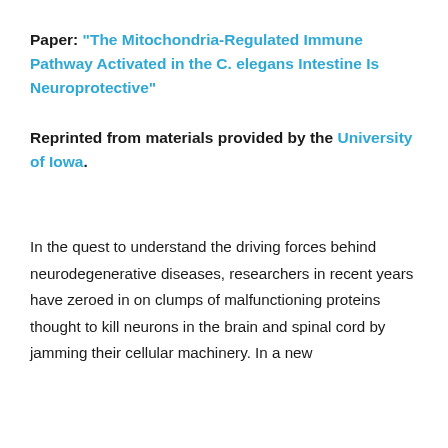Paper: “The Mitochondria-Regulated Immune Pathway Activated in the C. elegans Intestine Is Neuroprotective”
Reprinted from materials provided by the University of Iowa.
In the quest to understand the driving forces behind neurodegenerative diseases, researchers in recent years have zeroed in on clumps of malfunctioning proteins thought to kill neurons in the brain and spinal cord by jamming their cellular machinery. In a new